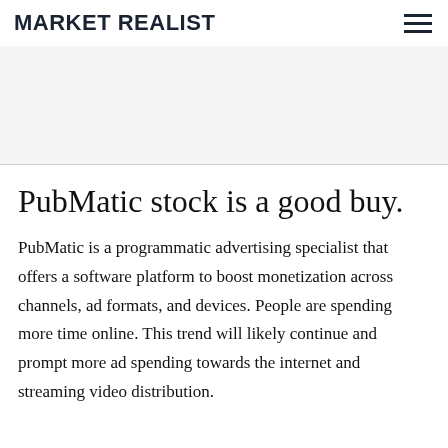MARKET REALIST
[Figure (other): Advertisement placeholder area — light gray background]
PubMatic stock is a good buy.
PubMatic is a programmatic advertising specialist that offers a software platform to boost monetization across channels, ad formats, and devices. People are spending more time online. This trend will likely continue and prompt more ad spending towards the internet and streaming video distribution.